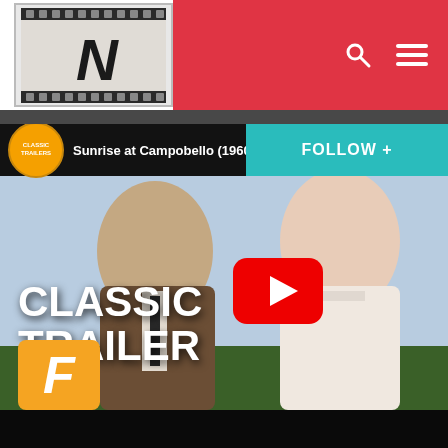[Figure (logo): Website logo with film strip border and stylized N letter mark]
[Figure (screenshot): YouTube video embed showing Sunrise at Campobello (1960) Classic Trailer with two actors, CLASSIC TRAILER text overlay, YouTube play button, Fandango badge, and FOLLOW+ button]
Sunrise at Campobello (1960) Cl...
CLASSIC TRAILER
FOLLOW +